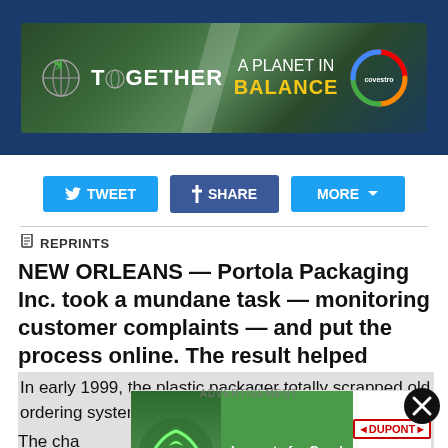[Figure (illustration): Covestro advertisement banner: 'TOGETHER — A PLANET IN BALANCE' with globe icon and Covestro logo on dark nature background]
TWEET   SHARE   MORE
REPRINTS
NEW ORLEANS — Portola Packaging Inc. took a mundane task — monitoring customer complaints — and put the process online. The result helped reinvent the San Jose, Calif.-based closure and bottle molder.
In early 1999, the plastic packager totally scrapped old ordering system, set up a new, automated approach... company that will ...sors.

The cha...will
[Figure (advertisement): Inline advertisement: green circular economy imagery on left, 'Innovate for Good / Fostering a Circular Economy' text in center, DuPont logo on right with Learn more button]